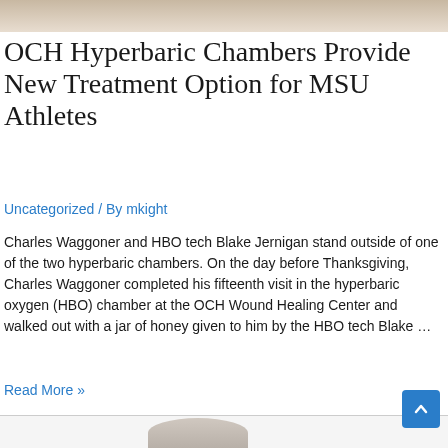[Figure (photo): Partial image visible at top of page, appears to be an outdoor or nature scene]
OCH Hyperbaric Chambers Provide New Treatment Option for MSU Athletes
Uncategorized / By mkight
Charles Waggoner and HBO tech Blake Jernigan stand outside of one of the two hyperbaric chambers. On the day before Thanksgiving, Charles Waggoner completed his fifteenth visit in the hyperbaric oxygen (HBO) chamber at the OCH Wound Healing Center and walked out with a jar of honey given to him by the HBO tech Blake …
Read More »
[Figure (photo): Partial photo visible at bottom of page, appears to show a person's head/shoulders]